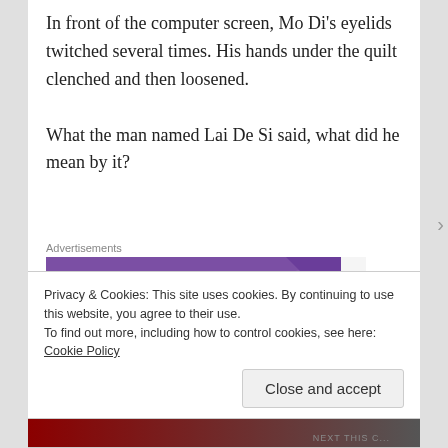In front of the computer screen, Mo Di's eyelids twitched several times. His hands under the quilt clenched and then loosened.
What the man named Lai De Si said, what did he mean by it?
Advertisements
[Figure (logo): WooCommerce advertisement banner with purple background and white WooCommerce logo with speech bubble icon, and a teal/green triangle in the lower left corner.]
Privacy & Cookies: This site uses cookies. By continuing to use this website, you agree to their use.
To find out more, including how to control cookies, see here: Cookie Policy
Close and accept